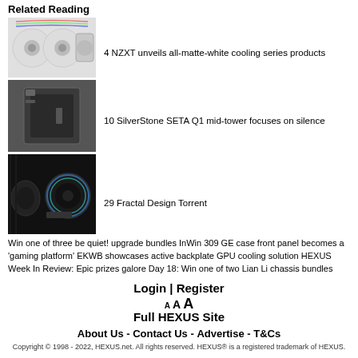Related Reading
[Figure (photo): NZXT all-matte-white cooling fans with RGB lighting]
4 NZXT unveils all-matte-white cooling series products
[Figure (photo): SilverStone SETA Q1 mid-tower PC case in black]
10 SilverStone SETA Q1 mid-tower focuses on silence
[Figure (photo): Fractal Design Torrent case with RGB fan and headphones]
29 Fractal Design Torrent
Win one of three be quiet! upgrade bundles InWin 309 GE case front panel becomes a 'gaming platform' EKWB showcases active backplate GPU cooling solution HEXUS Week In Review: Epic prizes galore Day 18: Win one of two Lian Li chassis bundles
Login | Register
A A A
Full HEXUS Site
About Us - Contact Us - Advertise - T&Cs
Copyright © 1998 - 2022, HEXUS.net. All rights reserved. HEXUS® is a registered trademark of HEXUS.